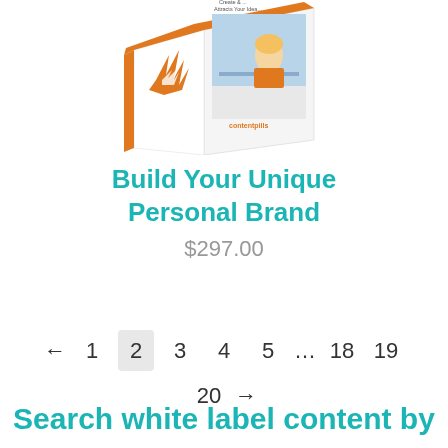[Figure (illustration): Product box illustration with orange and white packaging, showing a flame/bird logo and a woman working at a computer, with 'contentpills' branding. Text on box reads 'Create ... Attracts Your Idea...']
Build Your Unique Personal Brand
$297.00
Add to cart
← 1 2 3 4 5 … 18 19 20 →
Search white label content by